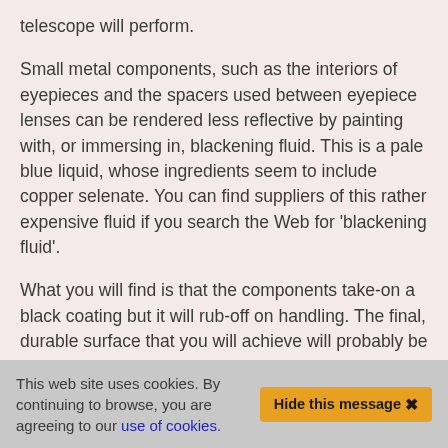telescope will perform.
Small metal components, such as the interiors of eyepieces and the spacers used between eyepiece lenses can be rendered less reflective by painting with, or immersing in, blackening fluid. This is a pale blue liquid, whose ingredients seem to include copper selenate. You can find suppliers of this rather expensive fluid if you search the Web for 'blackening fluid'.
What you will find is that the components take-on a black coating but it will rub-off on handling. The final, durable surface that you will achieve will probably be brown, but it will have a less reflective surface than the original metal so it is
This web site uses cookies. By continuing to browse, you are agreeing to our use of cookies.